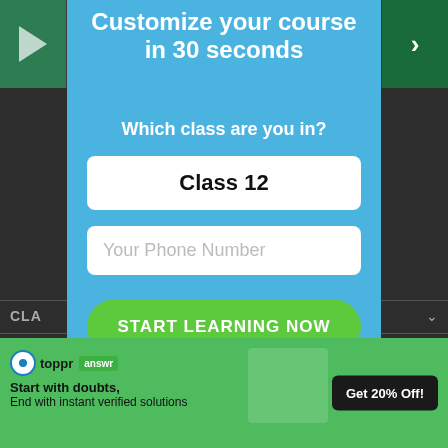[Figure (screenshot): Background of a dark educational website with navigation sidebar items CLA, BOA, EXA and prev/next arrows]
Customize your course in 30 seconds
Which class are you in?
Class 12
Your Phone Number
START LEARNING NOW
No Thanks.
[Figure (infographic): Toppr answer advertisement banner: logo, tagline 'Start with doubts, End with instant verified solutions', student photo, 'Get 20% Off!' button]